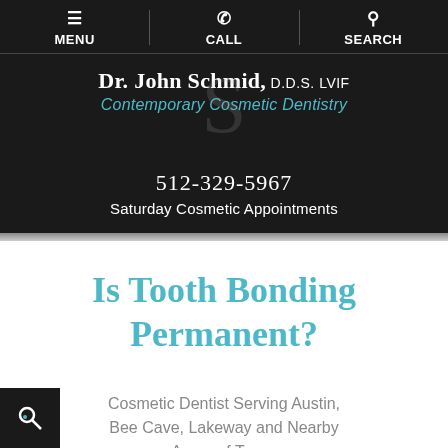MENU | CALL | SEARCH
Dr. John Schmid, D.D.S. LVIF
Contemporary Cosmetic Dentistry
512-329-5967
Saturday Cosmetic Appointments
Is Tooth Bonding Permanent?
Cosmetic Dentist Serving Austin, Bee Cave, Lakeway and Nearby Areas of Texas